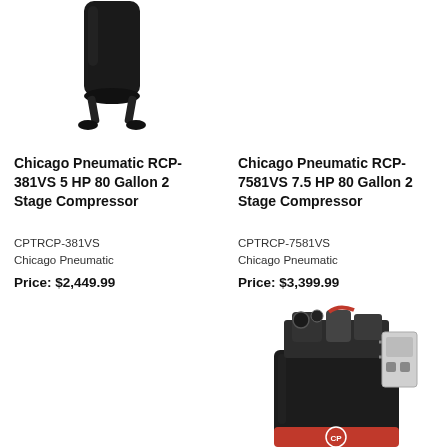[Figure (photo): Top portion of a black vertical air compressor tank with legs, Chicago Pneumatic RCP-381VS]
Chicago Pneumatic RCP-381VS 5 HP 80 Gallon 2 Stage Compressor
Chicago Pneumatic RCP-7581VS 7.5 HP 80 Gallon 2 Stage Compressor
CPTRCP-381VS
Chicago Pneumatic
Price: $2,449.99
CPTRCP-7581VS
Chicago Pneumatic
Price: $3,399.99
[Figure (photo): Air compressor unit with black tank and mechanical top components, Chicago Pneumatic RCP-7581VS, partially visible]